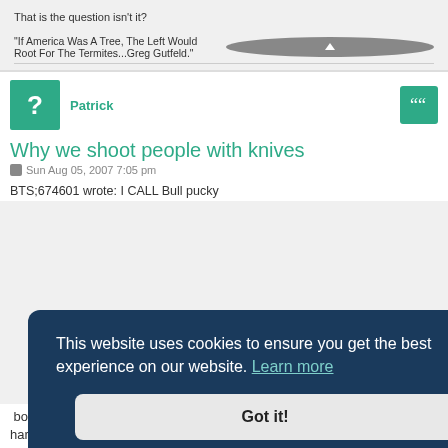That is the question isn't it?
"If America Was A Tree, The Left Would Root For The Termites...Greg Gutfeld."
Patrick
Why we shoot people with knives
Sun Aug 05, 2007 7:05 pm
BTS;674601 wrote: I CALL Bull pucky
This website uses cookies to ensure you get the best experience on our website. Learn more
Got it!
harm your family and you had a opportunity to stop them by using deadly